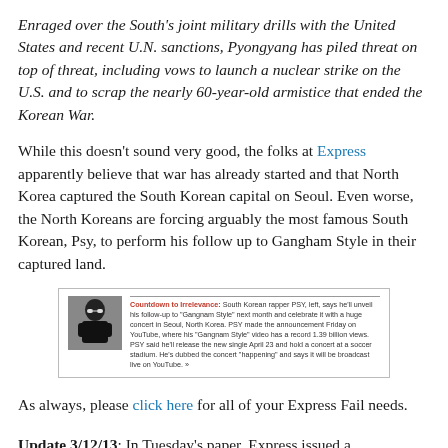Enraged over the South's joint military drills with the United States and recent U.N. sanctions, Pyongyang has piled threat on top of threat, including vows to launch a nuclear strike on the U.S. and to scrap the nearly 60-year-old armistice that ended the Korean War.
While this doesn't sound very good, the folks at Express apparently believe that war has already started and that North Korea captured the South Korean capital on Seoul. Even worse, the North Koreans are forcing arguably the most famous South Korean, Psy, to perform his follow up to Gangham Style in their captured land.
[Figure (screenshot): Embedded news snippet with headline 'Countdown to Irrelevance:' in red bold, followed by small text about South Korean rapper PSY announcing follow-up to Gangnam Style, with a photo of PSY on the left.]
As always, please click here for all of your Express Fail needs.
Update 3/12/13: In Tuesday's paper, Express issued a